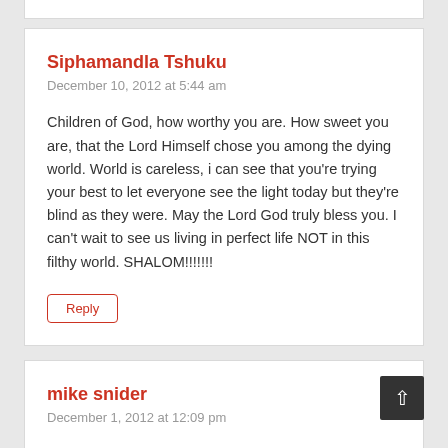Siphamandla Tshuku
December 10, 2012 at 5:44 am
Children of God, how worthy you are. How sweet you are, that the Lord Himself chose you among the dying world. World is careless, i can see that you're trying your best to let everyone see the light today but they're blind as they were. May the Lord God truly bless you. I can't wait to see us living in perfect life NOT in this filthy world. SHALOM!!!!!!!
Reply
mike snider
December 1, 2012 at 12:09 pm